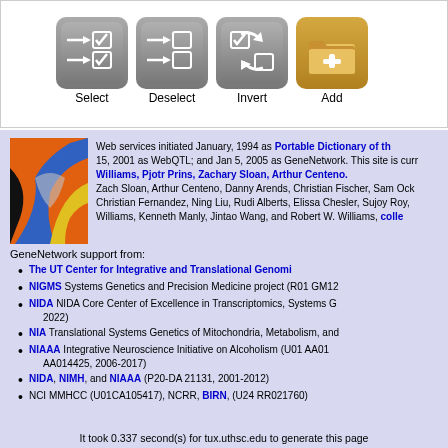[Figure (screenshot): Four toolbar buttons: Select, Deselect, Invert, Add with icons]
Web services initiated January, 1994 as Portable Dictionary of th... 15, 2001 as WebQTL; and Jan 5, 2005 as GeneNetwork. This site is curr... Williams, Pjotr Prins, Zachary Sloan, Arthur Centeno... Zach Sloan, Arthur Centeno, Danny Arends, Christian Fischer, Sam Ock... Christian Fernandez, Ning Liu, Rudi Alberts, Elissa Chesler, Sujoy Roy,... Williams, Kenneth Manly, Jintao Wang, and Robert W. Williams, colle...
GeneNetwork support from:
The UT Center for Integrative and Translational Genomi...
NIGMS Systems Genetics and Precision Medicine project (R01 GM12...
NIDA NIDA Core Center of Excellence in Transcriptomics, Systems G... 2022)
NIA Translational Systems Genetics of Mitochondria, Metabolism, and...
NIAAA Integrative Neuroscience Initiative on Alcoholism (U01 AA01... AA014425, 2006-2017)
NIDA, NIMH, and NIAAA (P20-DA 21131, 2001-2012)
NCI MMHCC (U01CA105417), NCRR, BIRN, (U24 RR021760)
It took 0.337 second(s) for tux.uthsc.edu to generate this page